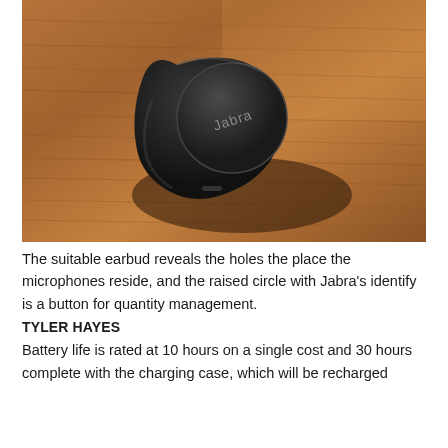[Figure (photo): A Jabra wireless earbud placed on a wooden surface. The black earbud shows a round button with the Jabra logo on top and microphone holes on the side.]
The suitable earbud reveals the holes the place the microphones reside, and the raised circle with Jabra's identify is a button for quantity management.
TYLER HAYES
Battery life is rated at 10 hours on a single cost and 30 hours complete with the charging case, which will be recharged